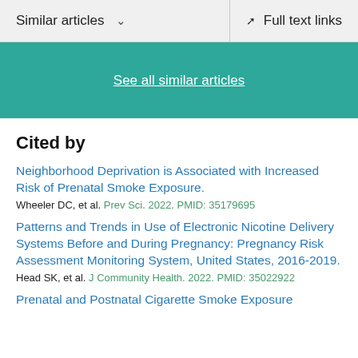Similar articles  ∨   Full text links
See all similar articles
Cited by
Neighborhood Deprivation is Associated with Increased Risk of Prenatal Smoke Exposure.
Wheeler DC, et al. Prev Sci. 2022. PMID: 35179695
Patterns and Trends in Use of Electronic Nicotine Delivery Systems Before and During Pregnancy: Pregnancy Risk Assessment Monitoring System, United States, 2016-2019.
Head SK, et al. J Community Health. 2022. PMID: 35022922
Prenatal and Postnatal Cigarette Smoke Exposure